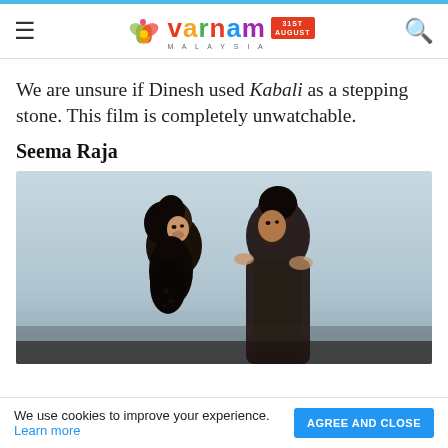Varnam Malaysia
We are unsure if Dinesh used Kabali as a stepping stone. This film is completely unwatchable.
Seema Raja
[Figure (photo): A couple in a romantic pose facing each other closely, woman in black attire, man in dark jacket, blurred outdoor background]
We use cookies to improve your experience. Learn more  AGREE AND CLOSE